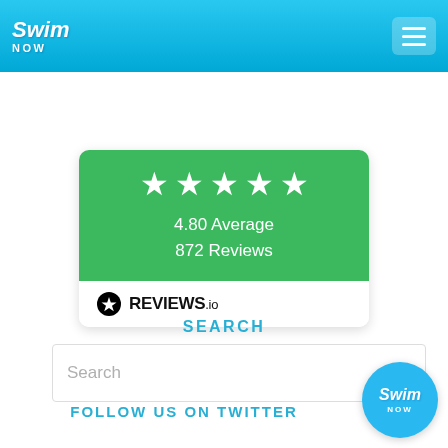Swim Now
[Figure (infographic): Reviews.io widget showing 4.80 average rating with 5 white stars on green background and 872 reviews count]
SEARCH
Search
FOLLOW US ON TWITTER
[Figure (logo): Swim Now circular blue logo badge]